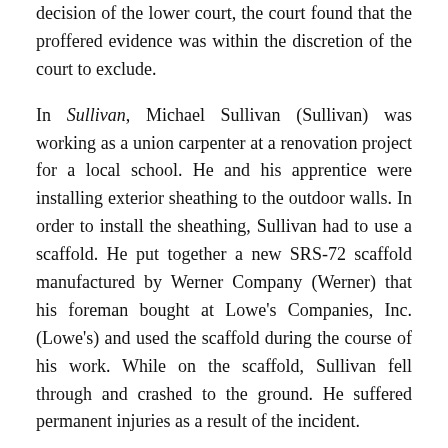decision of the lower court, the court found that the proffered evidence was within the discretion of the court to exclude.
In Sullivan, Michael Sullivan (Sullivan) was working as a union carpenter at a renovation project for a local school. He and his apprentice were installing exterior sheathing to the outdoor walls. In order to install the sheathing, Sullivan had to use a scaffold. He put together a new SRS-72 scaffold manufactured by Werner Company (Werner) that his foreman bought at Lowe's Companies, Inc. (Lowe's) and used the scaffold during the course of his work. While on the scaffold, Sullivan fell through and crashed to the ground. He suffered permanent injuries as a result of the incident.
Sullivan and his wife, Melissa Sullivan, brought a strict products liability action against Werner and Lowe's (herein after referred to collectively as Manufacturer). Determining that a design defect caused the accident, the jury awarded Sullivan $3.3 million against Manufacturer, and also